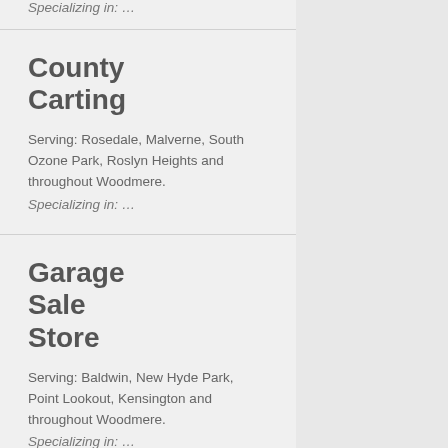Specializing in: …
County Carting
Serving: Rosedale, Malverne, South Ozone Park, Roslyn Heights and throughout Woodmere.
Specializing in: …
Garage Sale Store
Serving: Baldwin, New Hyde Park, Point Lookout, Kensington and throughout Woodmere.
Specializing in: …